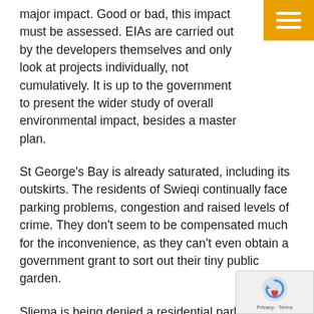major impact. Good or bad, this impact must be assessed. EIAs are carried out by the developers themselves and only look at projects individually, not cumulatively. It is up to the government to present the wider study of overall environmental impact, besides a master plan.
St George's Bay is already saturated, including its outskirts. The residents of Swieqi continually face parking problems, congestion and raised levels of crime. They don't seem to be compensated much for the inconvenience, as they can't even obtain a government grant to sort out their tiny public garden.
Sliema is being denied a residential parking scheme by the government. Try to find a parking space at Qui-si-Sana today. Then imagine that same experience for the residents after the Fort Cambridge 40-storey block is built there, and after the Town Square towers rise from the dust and ashes of the Union Club.